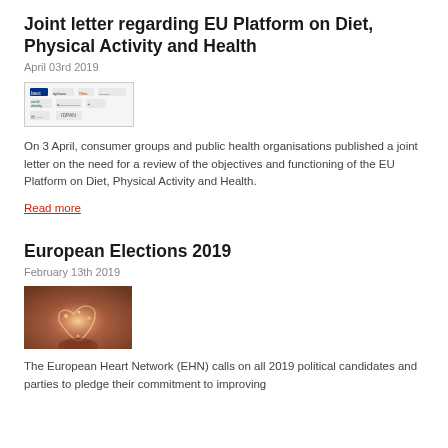Joint letter regarding EU Platform on Diet, Physical Activity and Health
April 03rd 2019
[Figure (logo): Logos of consumer and public health organisations including BEUC, epfazz, Ohin, World Obesity, and others]
On 3 April, consumer groups and public health organisations published a joint letter on the need for a review of the objectives and functioning of the EU Platform on Diet, Physical Activity and Health.
Read more
European Elections 2019
February 13th 2019
[Figure (photo): A heart shape made of light streaks held in hands against a warm reddish-brown background]
The European Heart Network (EHN) calls on all 2019 political candidates and parties to pledge their commitment to improving